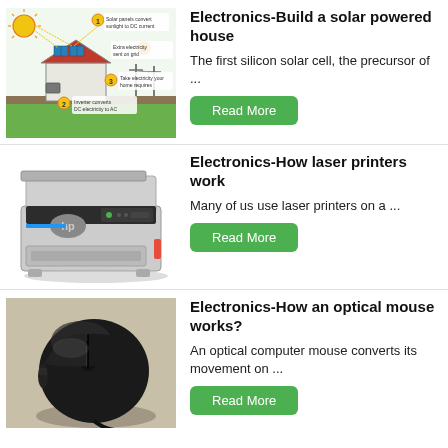[Figure (schematic): Solar powered house diagram showing solar panels converting sunlight to DC current, inverter converting DC to AC, extra electricity sent to grid, and electricity taken for home requirements. Steps labeled 1-4 with yellow numbered circles.]
Electronics-Build a solar powered house
The first silicon solar cell, the precursor of ...
Read More
[Figure (photo): Photo of an HP color laser printer, silver and black, viewed from front-left angle.]
Electronics-How laser printers work
Many of us use laser printers on a ...
Read More
[Figure (photo): Photo of a dark/black optical computer mouse on a beige/tan surface, viewed from above-left.]
Electronics-How an optical mouse works?
An optical computer mouse converts its movement on ...
Read More